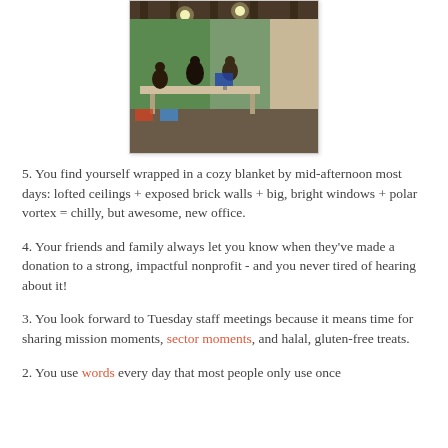[Figure (photo): Interior photo of a coworking/office space with exposed brick walls, lofted ceilings, people working at tables with computers, green accent walls, industrial pendant lighting.]
5. You find yourself wrapped in a cozy blanket by mid-afternoon most days: lofted ceilings + exposed brick walls + big, bright windows + polar vortex = chilly, but awesome, new office.
4. Your friends and family always let you know when they've made a donation to a strong, impactful nonprofit - and you never tired of hearing about it!
3. You look forward to Tuesday staff meetings because it means time for sharing mission moments, sector moments, and halal, gluten-free treats.
2. You use words every day that most people only use once